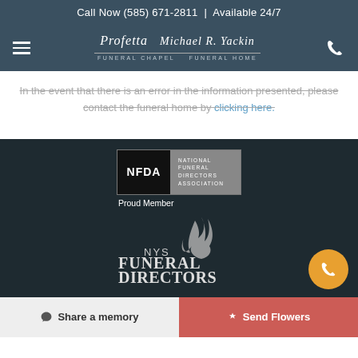Call Now (585) 671-2811 | Available 24/7
[Figure (logo): Profetta Funeral Chapel / Michael R. Yackin Funeral Home logo with hamburger menu and phone icon]
In the event that there is an error in the information presented, please contact the funeral home by clicking here.
[Figure (logo): NFDA National Funeral Directors Association badge with Proud Member text]
[Figure (logo): NYS Funeral Directors Association, Inc. logo with flame icon]
Share a memory
Send Flowers